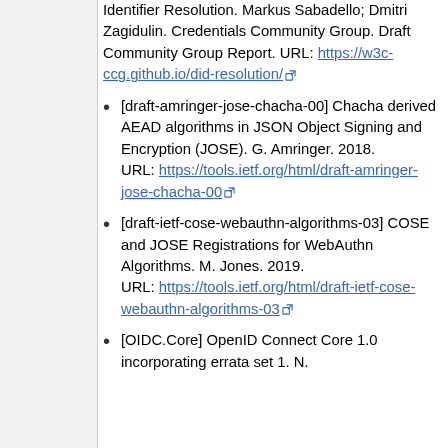Identifier Resolution. Markus Sabadello; Dmitri Zagidulin. Credentials Community Group. Draft Community Group Report. URL: https://w3c-ccg.github.io/did-resolution/
[draft-amringer-jose-chacha-00] Chacha derived AEAD algorithms in JSON Object Signing and Encryption (JOSE). G. Amringer. 2018. URL: https://tools.ietf.org/html/draft-amringer-jose-chacha-00
[draft-ietf-cose-webauthn-algorithms-03] COSE and JOSE Registrations for WebAuthn Algorithms. M. Jones. 2019. URL: https://tools.ietf.org/html/draft-ietf-cose-webauthn-algorithms-03
[OIDC.Core] OpenID Connect Core 1.0 incorporating errata set 1. N.